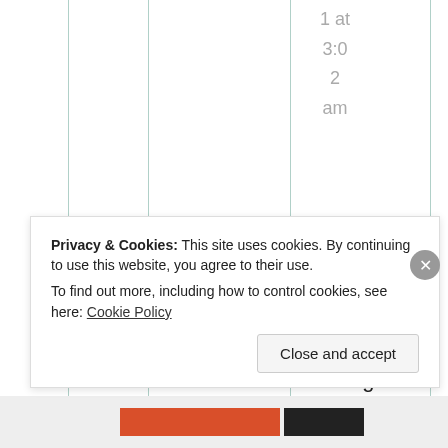1 at 3:02 am
Great comment and I agree especially about Trevor who has no
Privacy & Cookies: This site uses cookies. By continuing to use this website, you agree to their use.
To find out more, including how to control cookies, see here: Cookie Policy
Close and accept